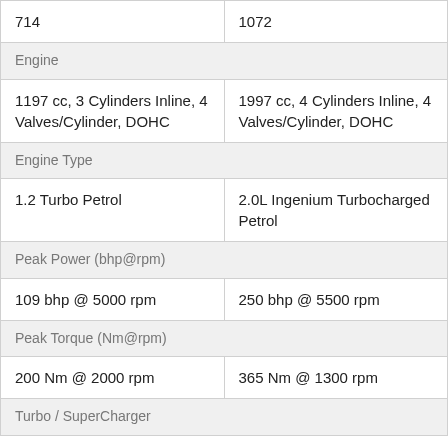| 714 | 1072 |
| Engine |  |
| 1197 cc, 3 Cylinders Inline, 4 Valves/Cylinder, DOHC | 1997 cc, 4 Cylinders Inline, 4 Valves/Cylinder, DOHC |
| Engine Type |  |
| 1.2 Turbo Petrol | 2.0L Ingenium Turbocharged Petrol |
| Peak Power (bhp@rpm) |  |
| 109 bhp @ 5000 rpm | 250 bhp @ 5500 rpm |
| Peak Torque (Nm@rpm) |  |
| 200 Nm @ 2000 rpm | 365 Nm @ 1300 rpm |
| Turbo / SuperCharger |  |